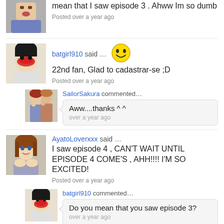mean that I saw episode 3 . Ahww Im so dumb
Posted over a year ago
batgirl910 said … 22nd fan, Glad to cadastrar-se ;D
Posted over a year ago
SailorSakura commented… Aww....thanks ^ ^
over a year ago
AyatoLoverxxx said … I saw episode 4 , CAN'T WAIT UNTIL EPISODE 4 COME'S , AHH!!!! I'M SO EXCITED!
Posted over a year ago
batgirl910 commented… Do you mean that you saw episode 3?
over a year ago
tina24girl said